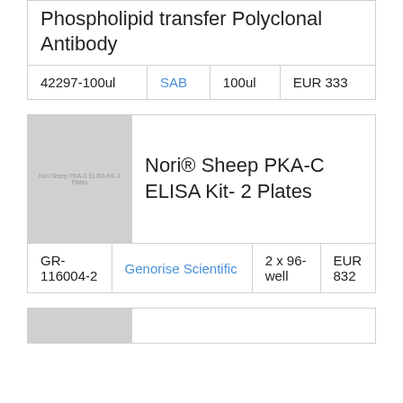Phospholipid transfer Polyclonal Antibody
| ID | Supplier | Volume | Price |
| --- | --- | --- | --- |
| 42297-100ul | SAB | 100ul | EUR 333 |
[Figure (photo): Product image placeholder for Nori Sheep PKA-C ELISA Kit 2 Plates]
Nori® Sheep PKA-C ELISA Kit- 2 Plates
| ID | Supplier | Volume | Price |
| --- | --- | --- | --- |
| GR-116004-2 | Genorise Scientific | 2 x 96-well | EUR 832 |